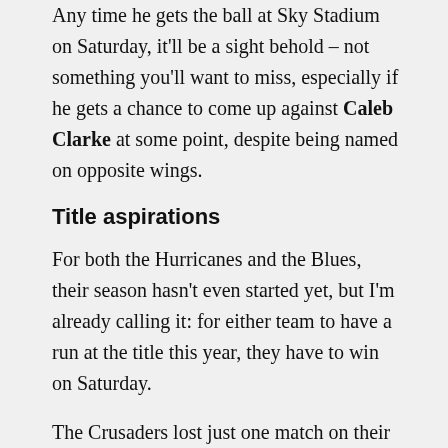Any time he gets the ball at Sky Stadium on Saturday, it'll be a sight behold – not something you'll want to miss, especially if he gets a chance to come up against Caleb Clarke at some point, despite being named on opposite wings.
Title aspirations
For both the Hurricanes and the Blues, their season hasn't even started yet, but I'm already calling it: for either team to have a run at the title this year, they have to win on Saturday.
The Crusaders lost just one match on their way to another Super Rugby title last year, and after a confidence-building win over the Highlanders to